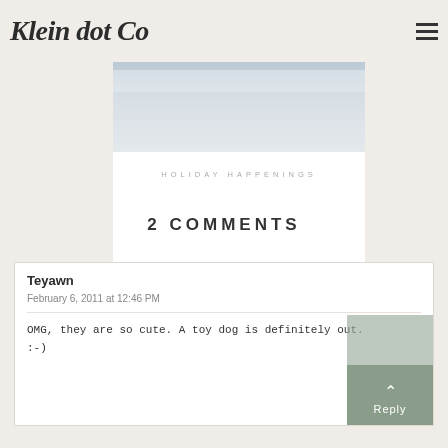Klein dot Co
[Figure (photo): Partial hero image showing people's legs in a blog header area]
HOLIDAY HAPPENINGS
2 COMMENTS
Teyawn
February 6, 2011 at 12:46 PM
OMG, they are so cute. A toy dog is definitely out. :-)